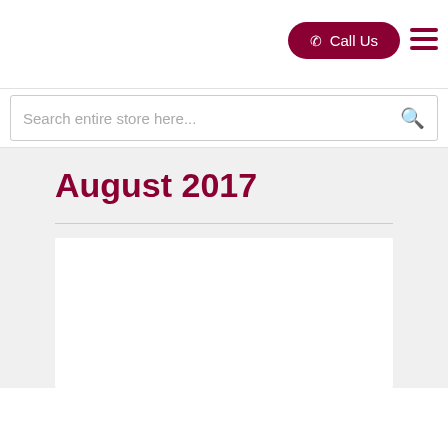Call Us
Search entire store here...
August 2017
[Figure (other): White article card placeholder image area]